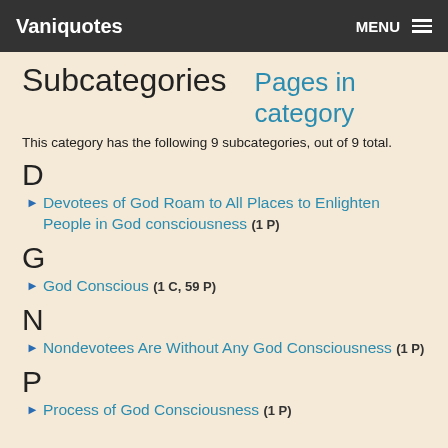Vaniquotes   MENU
Subcategories   Pages in category
This category has the following 9 subcategories, out of 9 total.
D
Devotees of God Roam to All Places to Enlighten People in God consciousness (1 P)
G
God Conscious (1 C, 59 P)
N
Nondevotees Are Without Any God Consciousness (1 P)
P
Process of God Consciousness (1 P)